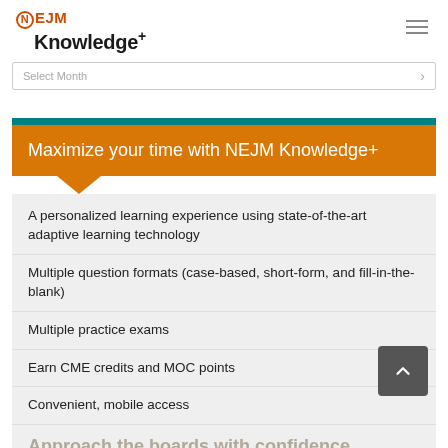NEJM Knowledge+
Select Month
Maximize your time with NEJM Knowledge+
A personalized learning experience using state-of-the-art adaptive learning technology
Multiple question formats (case-based, short-form, and fill-in-the-blank)
Multiple practice exams
Earn CME credits and MOC points
Convenient, mobile access
Approach the boards with confidence.